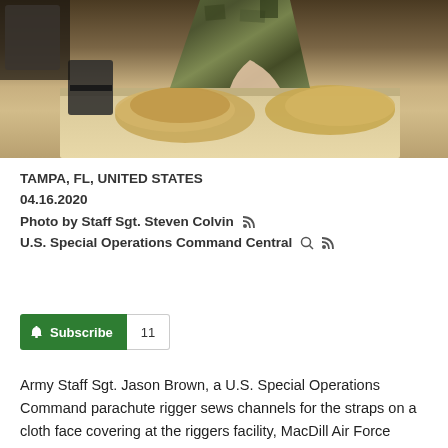[Figure (photo): A person wearing camouflage military uniform sewing fabric/cloth at a sewing machine on a table, viewed from above at an angle. Tan/khaki fabric is visible on the table.]
TAMPA, FL, UNITED STATES
04.16.2020
Photo by Staff Sgt. Steven Colvin
U.S. Special Operations Command Central
Subscribe 11
Army Staff Sgt. Jason Brown, a U.S. Special Operations Command parachute rigger sews channels for the straps on a cloth face covering at the riggers facility, MacDill Air Force Base, Tampa, Fla., April 16, 2020. The MacDill-based riggers recently repurposed their sewing machines to join military riggers around the world in creating face coverings to help fight the spread of COVID-19. The coverings are being distributed to mission essential special operations personnel in support of health,